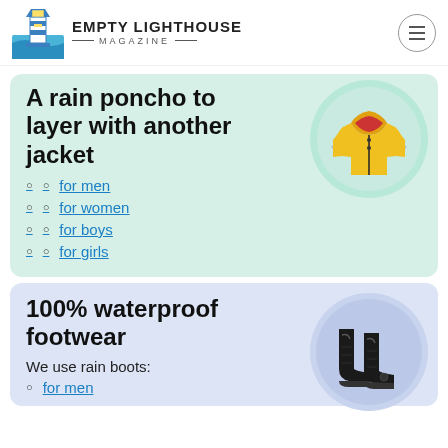EMPTY LIGHTHOUSE MAGAZINE
A rain poncho to layer with another jacket
for men
for women
for boys
for girls
[Figure (photo): Yellow children's rain jacket with hood and reflective strips]
100% waterproof footwear
We use rain boots:
[Figure (photo): Black waterproof rain boots, tall style]
for men